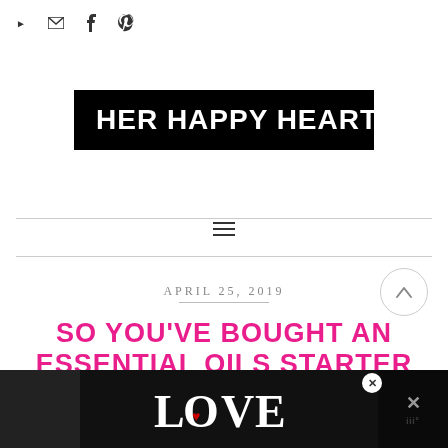▶ ✉ f ℗
[Figure (logo): Her Happy Heart blog logo — white bold text on black background rectangle]
☰
APRIL 25, 2019
SO YOU'VE BOUGHT AN ESSENTIAL OILS STARTER KIT
[Figure (screenshot): LOVE advertisement banner at page bottom with stylized decorative lettering on dark background]